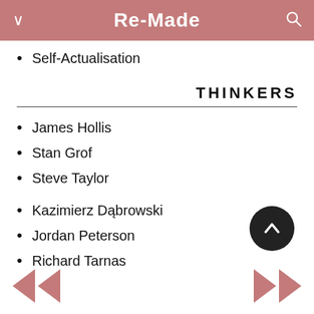Re-Made
Self-Actualisation
THINKERS
James Hollis
Stan Grof
Steve Taylor
Kazimierz Dąbrowski
Jordan Peterson
Richard Tarnas